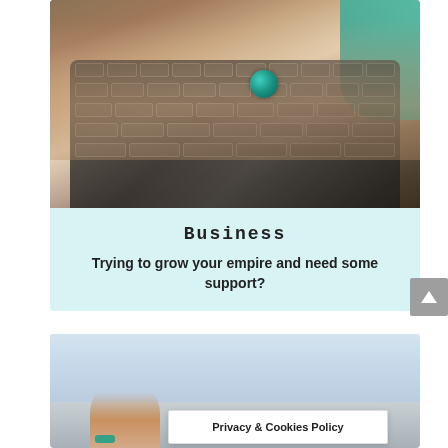[Figure (photo): Close-up photo of hands with rings typing on a laptop keyboard, with teal/turquoise clothing visible. Keyboard is white/silver MacBook style.]
Business
Trying to grow your empire and need some support?
[Figure (photo): Photo of a person outdoors against a sky background, with a teal bracelet visible on their wrist.]
Privacy & Cookies Policy